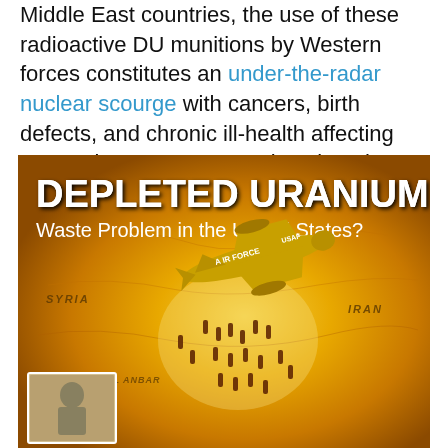Middle East countries, the use of these radioactive DU munitions by Western forces constitutes an under-the-radar nuclear scourge with cancers, birth defects, and chronic ill-health affecting generations upon generations into the distant future.
[Figure (illustration): Propaganda-style illustration showing a US Air Force aircraft dropping munitions over a map of the Middle East (Iraq, Syria, Iran region), with text overlay reading 'DEPLETED URANIUM Waste Problem in the United States?' and a small photograph of a child in the lower left corner.]